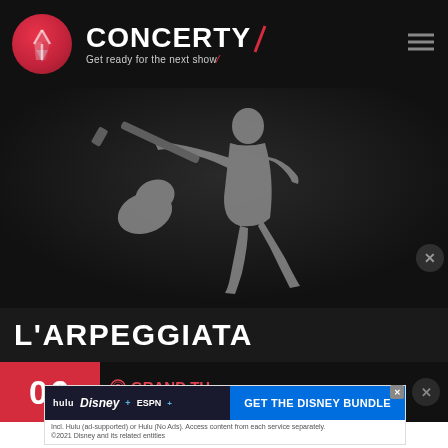[Figure (logo): Concerty website header with circular red logo (Y shape), brand name CONCERTY with red slash, tagline 'Get ready for the next show', and hamburger menu icon on dark background]
[Figure (photo): Dark background with gray silhouette of a guitarist playing guitar, high contrast image]
L'ARPEGGIATA
06  GRAND TH...
[Figure (screenshot): Disney Bundle advertisement banner: hulu, Disney+, ESPN+ logos on dark left panel, GET THE DISNEY BUNDLE button in blue, fine print about Hulu ad-supported and Hulu No Ads services, copyright 2021 Disney]